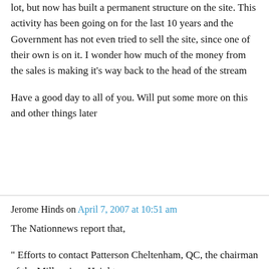lot, but now has built a permanent structure on the site. This activity has been going on for the last 10 years and the Government has not even tried to sell the site, since one of their own is on it. I wonder how much of the money from the sales is making it's way back to the head of the stream
Have a good day to all of you. Will put some more on this and other things later
Jerome Hinds on April 7, 2007 at 10:51 am
The Nationnews report that,
" Efforts to contact Patterson Cheltenham, QC, the chairman of the Millennium Heights